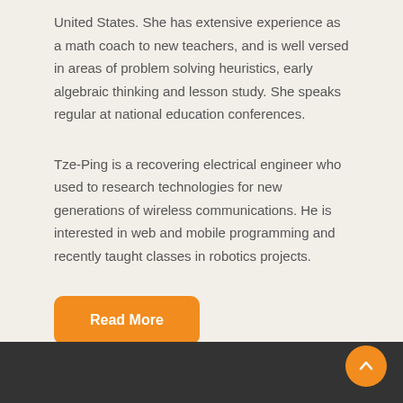United States. She has extensive experience as a math coach to new teachers, and is well versed in areas of problem solving heuristics, early algebraic thinking and lesson study. She speaks regular at national education conferences.
Tze-Ping is a recovering electrical engineer who used to research technologies for new generations of wireless communications. He is interested in web and mobile programming and recently taught classes in robotics projects.
Read More